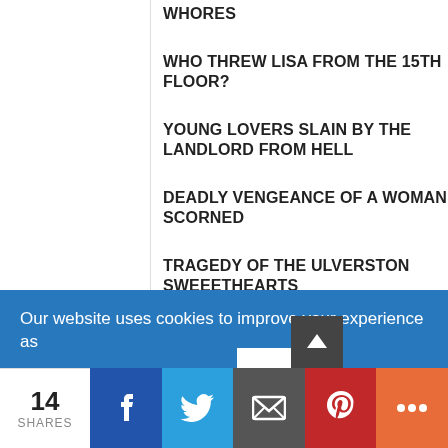WHORES
WHO THREW LISA FROM THE 15th FLOOR?
YOUNG LOVERS SLAIN BY THE LANDLORD FROM HELL
DEADLY VENGEANCE OF A WOMAN SCORNED
TRAGEDY OF THE ULVERSTON SWEEETHEARTS
VICTIMS OF THE SUBURBAN SERIAL KILLER
Our website uses cookies to improve your experience as
14 SHARES